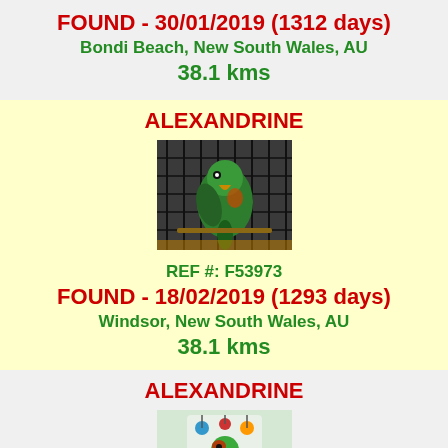FOUND - 30/01/2019 (1312 days)
Bondi Beach, New South Wales, AU
34.4 kms
ALEXANDRINE
[Figure (photo): Green parrot in a cage]
REF #: F53973
FOUND - 18/02/2019 (1293 days)
Windsor, New South Wales, AU
38.1 kms
ALEXANDRINE
[Figure (photo): Green parrot with colorful toys]